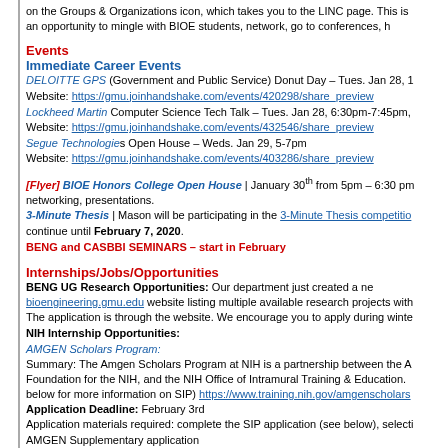on the Groups & Organizations icon, which takes you to the LINC page. This is an opportunity to mingle with BIOE students, network, go to conferences, h
Events
Immediate Career Events
DELOITTE GPS (Government and Public Service) Donut Day – Tues. Jan 28, 1 Website: https://gmu.joinhandshake.com/events/420298/share_preview
Lockheed Martin Computer Science Tech Talk – Tues. Jan 28, 6:30pm-7:45pm, Website: https://gmu.joinhandshake.com/events/432546/share_preview
Segue Technologies Open House – Weds. Jan 29, 5-7pm Website: https://gmu.joinhandshake.com/events/403286/share_preview
[Flyer] BIOE Honors College Open House | January 30th from 5pm – 6:30 pm networking, presentations.
3-Minute Thesis | Mason will be participating in the 3-Minute Thesis competition continue until February 7, 2020.
BENG and CASBBI SEMINARS – start in February
Internships/Jobs/Opportunities
BENG UG Research Opportunities: Our department just created a new bioengineering.gmu.edu website listing multiple available research projects with The application is through the website. We encourage you to apply during winte
NIH Internship Opportunities:
AMGEN Scholars Program:
Summary: The Amgen Scholars Program at NIH is a partnership between the A Foundation for the NIH, and the NIH Office of Intramural Training & Education. below for more information on SIP) https://www.training.nih.gov/amgenscholars
Application Deadline: February 3rd
Application materials required: complete the SIP application (see below), selecti AMGEN Supplementary application
Internship Duration: June 1st – August 7th